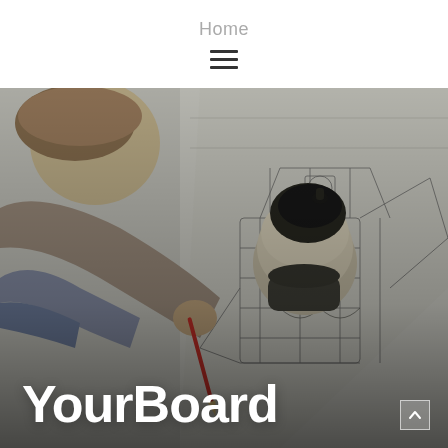Home
[Figure (photo): A person viewed from above, holding a drafting tool over a detailed engineering/technical drawing of what appears to be a spacecraft or mechanical device. The photo has a dark overlay and is used as a hero image. Text 'YourBoard' overlaid at bottom left.]